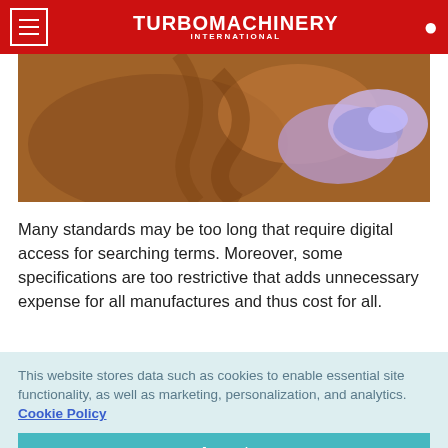TURBOMACHINERY INTERNATIONAL
[Figure (photo): Close-up photo of turbomachinery blades with a blue UV light inspection tool]
Many standards may be too long that require digital access for searching terms. Moreover, some specifications are too restrictive that adds unnecessary expense for all manufactures and thus cost for all.
This website stores data such as cookies to enable essential site functionality, as well as marketing, personalization, and analytics. Cookie Policy
Accept
Deny